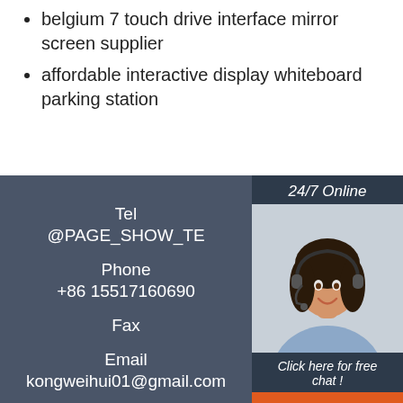belgium 7 touch drive interface mirror screen supplier
affordable interactive display whiteboard parking station
Tel
@PAGE_SHOW_TE
Phone
+86 15517160690
Fax

Email
kongweihui01@gmail.com
Address:
[Figure (photo): Customer service representative woman with headset smiling, with '24/7 Online' header, 'Click here for free chat!' text, and orange QUOTATION button]
[Figure (illustration): Orange 'TOP' logo with triangle/mountain dots above text]